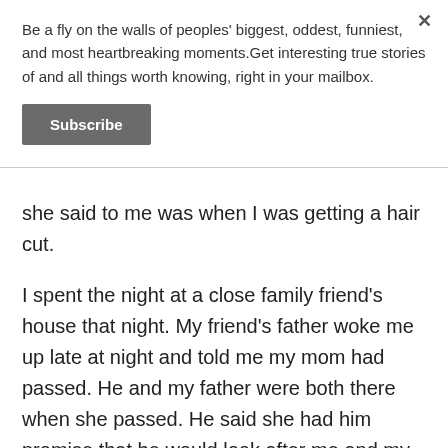Be a fly on the walls of peoples' biggest, oddest, funniest, and most heartbreaking moments.Get interesting true stories of and all things worth knowing, right in your mailbox.
Subscribe
she said to me was when I was getting a hair cut.
I spent the night at a close family friend's house that night. My friend's father woke me up late at night and told me my mom had passed. He and my father were both there when she passed. He said she had him promise that he would look after me and my father. Her final words were "Tell (my father and me) I will always love them."